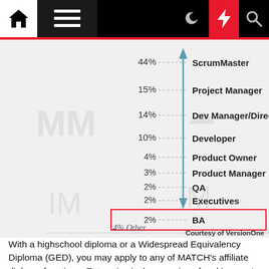Navigation bar with home, menu, moon, lightning, and search icons
[Figure (infographic): Vertical arrow chart showing role percentages: 44% ScrumMaster, 15% Project Manager, 14% Dev Manager/Director/VP, 10% Developer, 4% Product Owner, 3% Product Manager, 2% QA, 2% Executives, 2% BA (highlighted in red box). Bottom note: 4% Other. Courtesy of VersionOne.]
With a highschool diploma or a Widespread Equivalency Diploma (GED), you may apply to any of MATCH's affiliate diploma functions. Enterprise is the exercise of making one's residing or incomes earnings by producing or shopping for and selling